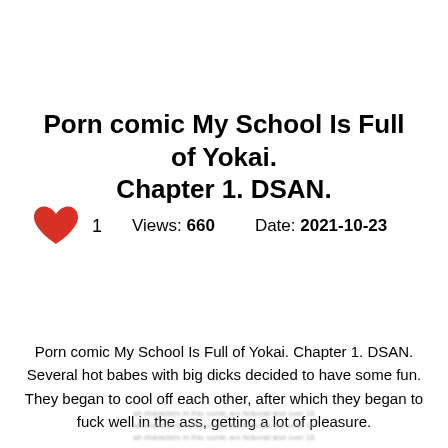Porn comic My School Is Full of Yokai. Chapter 1. DSAN.
1   Views: 660   Date: 2021-10-23
Porn comic My School Is Full of Yokai. Chapter 1. DSAN. Several hot babes with big dicks decided to have some fun. They began to cool off each other, after which they began to fuck well in the ass, getting a lot of pleasure.